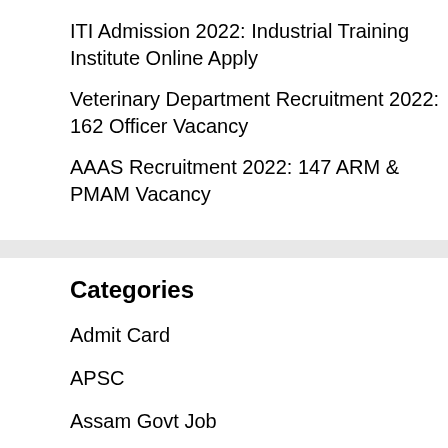ITI Admission 2022: Industrial Training Institute Online Apply
Veterinary Department Recruitment 2022: 162 Officer Vacancy
AAAS Recruitment 2022: 147 ARM & PMAM Vacancy
Categories
Admit Card
APSC
Assam Govt Job
Bank Job